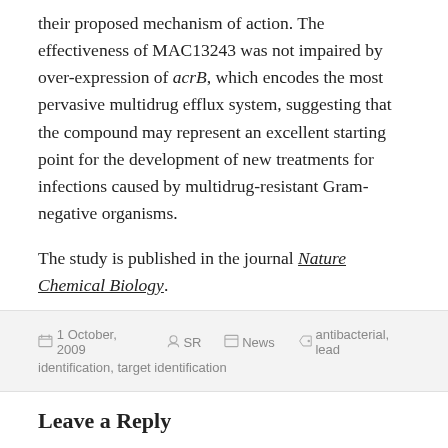their proposed mechanism of action. The effectiveness of MAC13243 was not impaired by over-expression of acrB, which encodes the most pervasive multidrug efflux system, suggesting that the compound may represent an excellent starting point for the development of new treatments for infections caused by multidrug-resistant Gram-negative organisms.
The study is published in the journal Nature Chemical Biology.
1 October, 2009  SR  News  antibacterial, lead identification, target identification
Leave a Reply